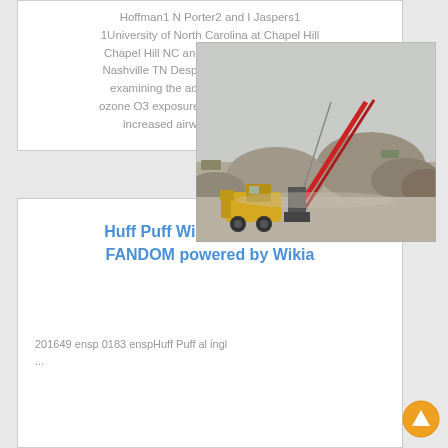Hoffman1 N Porter2 and I Jaspers1 1University of North Carolina at Chapel Hill Chapel Hill NC and 2Vanderbilt University Nashville TN Despite the wealth of studies examining the adverse health effects of ozone O3 exposure and its association with increased airway inflammation the
[Figure (photo): Photograph of an open-pit mining or quarry site with large piles of gravel/aggregate, a conveyor/crane structure, and heavy machinery (loader) in foreground. Overcast sky background.]
Huff Puff Wikia Angry Signs FANDOM powered by Wikia
201649 ensp 0183 enspHuff Puff al ingl ...